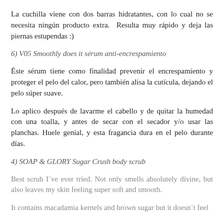La cuchilla viene con dos barras hidratantes, con lo cual no se necesita ningún producto extra.  Resulta muy rápido y deja las piernas estupendas :)
6) V05 Smoothly does it sérum anti-encrespamiento
Éste sérum tiene como finalidad prevenir el encrespamiento y proteger el pelo del calor, pero también alisa la cutícula, dejando el pelo súper suave.
Lo aplico después de lavarme el cabello y de quitar la humedad con una toalla, y antes de secar con el secador y/o usar las planchas. Huele genial, y esta fragancia dura en el pelo durante días.
4) SOAP & GLORY Sugar Crush body scrub
Best scrub I´ve ever tried. Not only smells absolutely divine, but also leaves my skin feeling super soft and smooth.
It contains macadamia kernels and brown sugar but it doesn´t feel